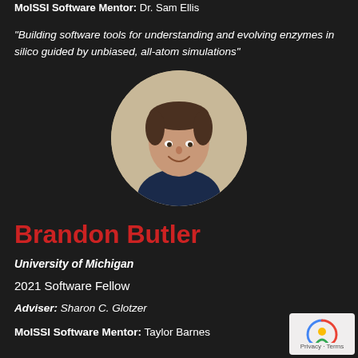MolSSI Software Mentor: Dr. Sam Ellis
"Building software tools for understanding and evolving enzymes in silico guided by unbiased, all-atom simulations"
[Figure (photo): Circular headshot photo of Brandon Butler, a young man in a dark shirt, smiling, against a light background]
Brandon Butler
University of Michigan
2021 Software Fellow
Adviser: Sharon C. Glotzer
MolSSI Software Mentor: Taylor Barnes